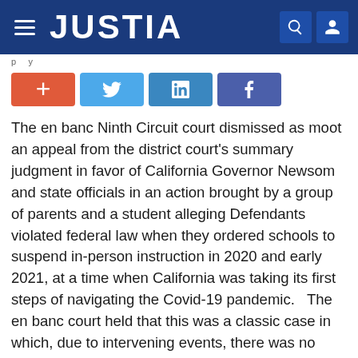JUSTIA
[Figure (screenshot): Social share buttons: plus, Twitter, LinkedIn, Facebook]
The en banc Ninth Circuit court dismissed as moot an appeal from the district court's summary judgment in favor of California Governor Newsom and state officials in an action brought by a group of parents and a student alleging Defendants violated federal law when they ordered schools to suspend in-person instruction in 2020 and early 2021, at a time when California was taking its first steps of navigating the Covid-19 pandemic.   The en banc court held that this was a classic case in which, due to intervening events, there was no longer a live controversy necessary for Article III jurisdiction. Nor was there any effective relief that could be granted by the court. The parents had not brought a claim for damages; they sought a declaratory judgment